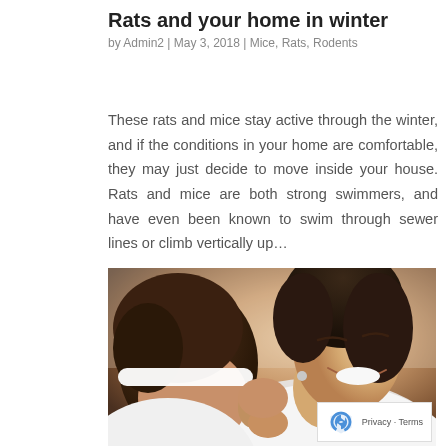Rats and your home in winter
by Admin2 | May 3, 2018 | Mice, Rats, Rodents
These rats and mice stay active through the winter, and if the conditions in your home are comfortable, they may just decide to move inside your house. Rats and mice are both strong swimmers, and have even been known to swim through sewer lines or climb vertically up…
[Figure (photo): Photo of a smiling woman and a young child, both of African descent, with the child resting against the woman's shoulder/neck. The woman is smiling warmly. Both are wearing white.]